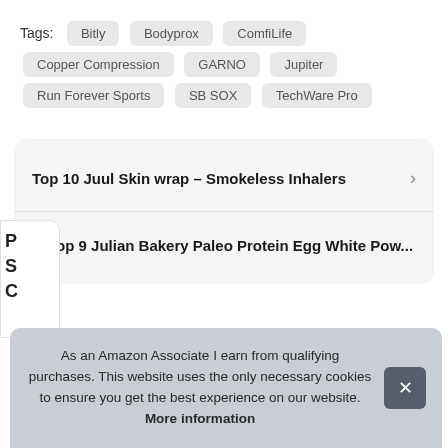Tags: Bitly  Bodyprox  ComfiLife  Copper Compression  GARNO  Jupiter  Run Forever Sports  SB SOX  TechWare Pro
Top 10 Juul Skin wrap – Smokeless Inhalers
Top 9 Julian Bakery Paleo Protein Egg White Pow...
As an Amazon Associate I earn from qualifying purchases. This website uses the only necessary cookies to ensure you get the best experience on our website. More information